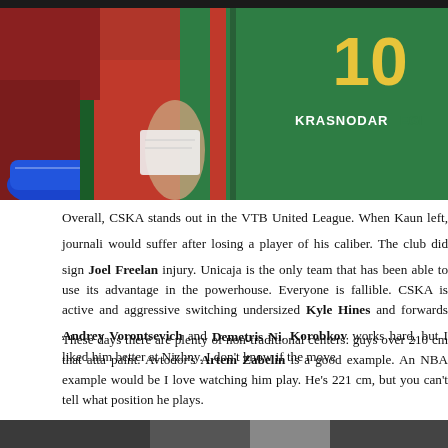[Figure (photo): Basketball player wearing a green Krasnodar Loko jersey with number 10, showing the back of the jersey. A blue shoe is visible at lower left. Crowd visible in background.]
Overall, CSKA stands out in the VTB United League. When Kaun left, journalists speculated that CSKA would suffer after losing a player of his caliber. The club did sign Joel Freeland, but he's been out with an injury. Unicaja is the only team that has been able to use its advantage in the paint against this powerhouse. Everyone is fallible. CSKA is active and aggressive switching on pick-and-rolls with undersized Kyle Hines and forwards Andrey Vorontsevich and Demetris Nikolaidis. Nikita Korobkov works hard, but I liked him better at Nizhny. I don't know if the move was good for him.
These days there are plenty of non-traditional centers: guys over 210 cm that attack and defend the paint. Avtodor's Artem Zabelin is a good example. An NBA example would be Kristaps Porzingis. I love watching him play. He's 221 cm, but you can't tell what position he plays.
[Figure (photo): Partial photo at bottom of page, dark image.]